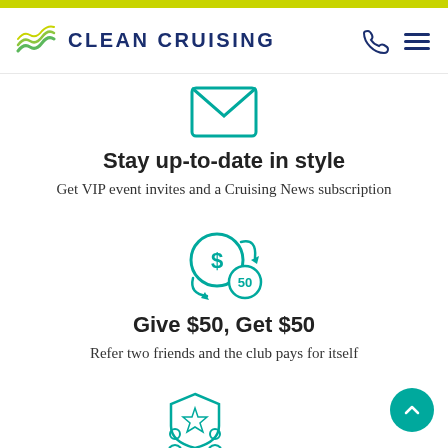CLEAN CRUISING
[Figure (illustration): Teal envelope icon with letter inside]
Stay up-to-date in style
Get VIP event invites and a Cruising News subscription
[Figure (illustration): Teal circular arrows with dollar sign and 50 coin icon]
Give $50, Get $50
Refer two friends and the club pays for itself
[Figure (illustration): Teal trophy/shield icon - partially visible at bottom]